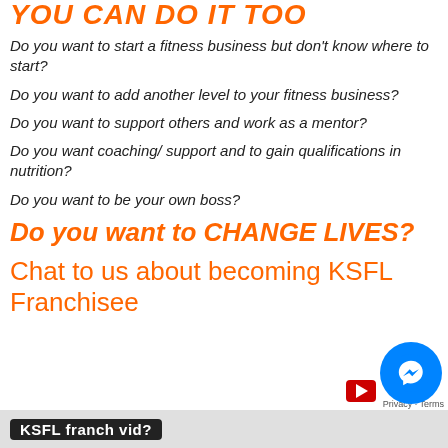YOU CAN DO IT TOO
Do you want to start a fitness business but don’t know where to start?
Do you want to add another level to your fitness business?
Do you want to support others and work as a mentor?
Do you want coaching/ support and to gain qualifications in nutrition?
Do you want to be your own boss?
Do you want to CHANGE LIVES?
Chat to us about becoming KSFL Franchisee
[Figure (screenshot): Bottom strip with KSFL franch vid? label, messenger chat button, and Privacy - Terms overlay]